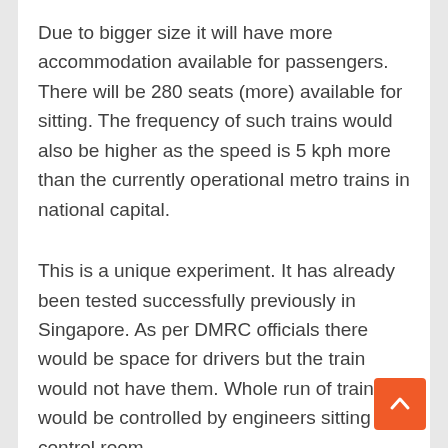Due to bigger size it will have more accommodation available for passengers. There will be 280 seats (more) available for sitting. The frequency of such trains would also be higher as the speed is 5 kph more than the currently operational metro trains in national capital.
This is a unique experiment. It has already been tested successfully previously in Singapore. As per DMRC officials there would be space for drivers but the train would not have them. Whole run of train would be controlled by engineers sitting in control room.
Delhi Metro is excited about these trains because they can boost up their revenues